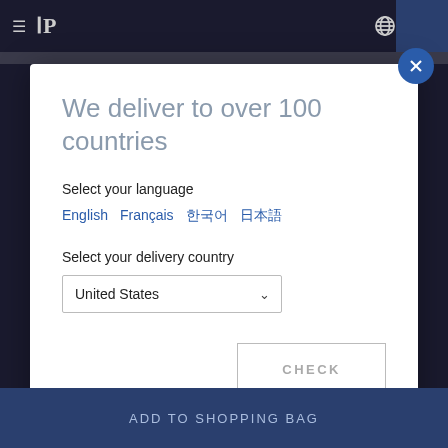[Figure (screenshot): Website navbar with hamburger menu, JP logo, globe icon, bag icon, and search icon on dark navy background]
We deliver to over 100 countries
Select your language
English   Français   한국어   日本語
Select your delivery country
United States (dropdown selected)
CHECK (button)